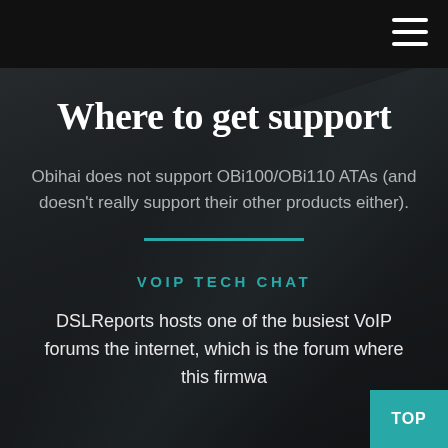≡
Where to get support
Obihai does not support OBi100/OBi110 ATAs (and doesn't really support their other products either).
VOIP TECH CHAT
DSLReports hosts one of the busiest VoIP forums the internet, which is the forum where this firmwa